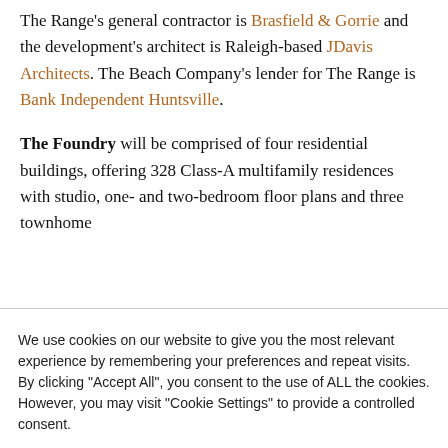The Range's general contractor is Brasfield & Gorrie and the development's architect is Raleigh-based JDavis Architects. The Beach Company's lender for The Range is Bank Independent Huntsville.
The Foundry will be comprised of four residential buildings, offering 328 Class-A multifamily residences with studio, one- and two-bedroom floor plans and three townhome
We use cookies on our website to give you the most relevant experience by remembering your preferences and repeat visits. By clicking "Accept All", you consent to the use of ALL the cookies. However, you may visit "Cookie Settings" to provide a controlled consent.